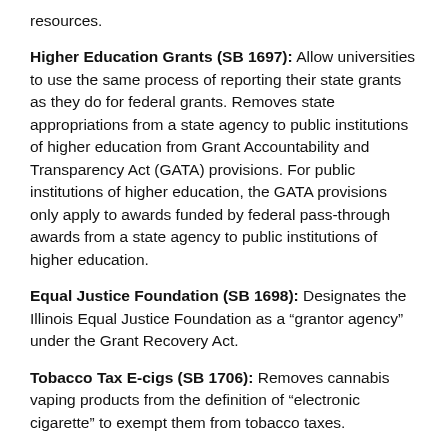resources.
Higher Education Grants (SB 1697): Allow universities to use the same process of reporting their state grants as they do for federal grants. Removes state appropriations from a state agency to public institutions of higher education from Grant Accountability and Transparency Act (GATA) provisions. For public institutions of higher education, the GATA provisions only apply to awards funded by federal pass-through awards from a state agency to public institutions of higher education.
Equal Justice Foundation (SB 1698): Designates the Illinois Equal Justice Foundation as a “grantor agency” under the Grant Recovery Act.
Tobacco Tax E-cigs (SB 1706): Removes cannabis vaping products from the definition of “electronic cigarette” to exempt them from tobacco taxes.